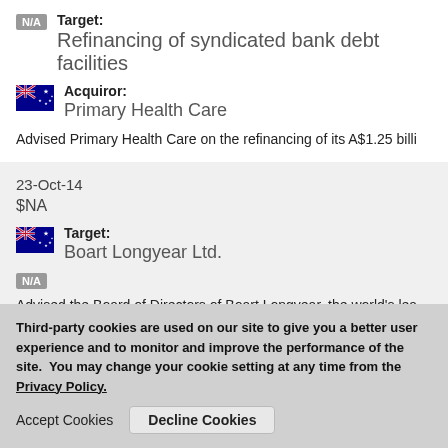Target: Refinancing of syndicated bank debt facilities
Acquiror: Primary Health Care
Advised Primary Health Care on the refinancing of its A$1.25 billi
23-Oct-14
$NA
Target: Boart Longyear Ltd.
N/A
Advised the Board of Directors of Boart Longyear, the world's lea companies, on its strategic review process and subsequent comp
Third-party cookies are used on our site to give you a better user experience and to monitor and improve the performance of the site.  You may change your cookie setting at any time from the Privacy Policy.
Accept Cookies  Decline Cookies